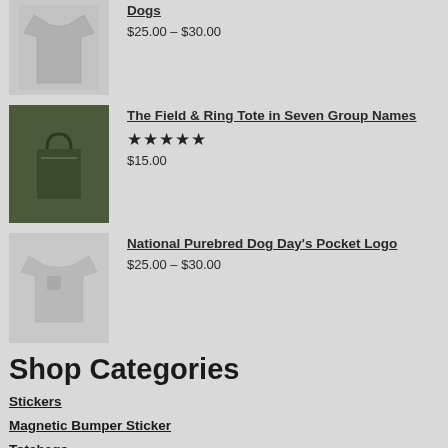[Figure (photo): Product image of a long-sleeve shirt in grey]
Dogs
$25.00 – $30.00
[Figure (photo): Product image of The Field & Ring Tote in dark green/black]
The Field & Ring Tote in Seven Group Names
★★★★★
$15.00
[Figure (photo): Product image of National Purebred Dog Day's Pocket Logo shirt in light grey]
National Purebred Dog Day's Pocket Logo
$25.00 – $30.00
Shop Categories
Stickers
Magnetic Bumper Sticker
Totebags
Playing Cards
Shirts
Towels
Posters